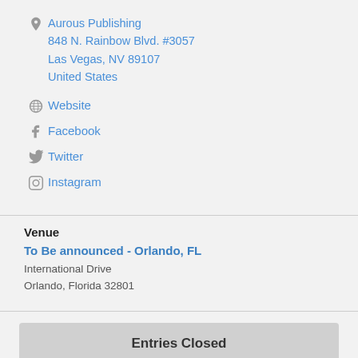Aurous Publishing
848 N. Rainbow Blvd. #3057
Las Vegas, NV 89107
United States
Website
Facebook
Twitter
Instagram
Venue
To Be announced - Orlando, FL
International Drive
Orlando, Florida 32801
Entries Closed